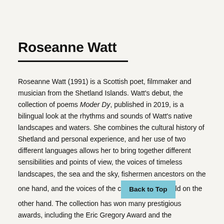Roseanne Watt
Roseanne Watt (1991) is a Scottish poet, filmmaker and musician from the Shetland Islands. Watt's debut, the collection of poems Moder Dy, published in 2019, is a bilingual look at the rhythms and sounds of Watt's native landscapes and waters. She combines the cultural history of Shetland and personal experience, and her use of two different languages allows her to bring together different sensibilities and points of view, the voices of timeless landscapes, the sea and the sky, fishermen ancestors on the one hand, and the voices of the contemporary world on the other hand. The collection has won many prestigious awards, including the Eric Gregory Award and the